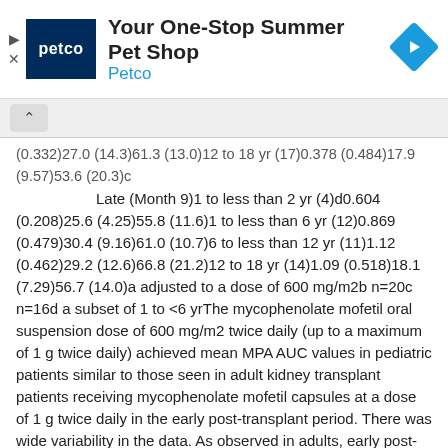[Figure (other): Petco advertisement banner: 'Your One-Stop Summer Pet Shop' with Petco logo and navigation icon]
(0.332)27.0 (14.3)61.3 (13.0)12 to 18 yr (17)0.378 (0.484)17.9 (9.57)53.6 (20.3)c
Late (Month 9)1 to less than 2 yr (4)d0.604 (0.208)25.6 (4.25)55.8 (11.6)1 to less than 6 yr (12)0.869 (0.479)30.4 (9.16)61.0 (10.7)6 to less than 12 yr (11)1.12 (0.462)29.2 (12.6)66.8 (21.2)12 to 18 yr (14)1.09 (0.518)18.1 (7.29)56.7 (14.0)a adjusted to a dose of 600 mg/m2b n=20c n=16d a subset of 1 to <6 yrThe mycophenolate mofetil oral suspension dose of 600 mg/m2 twice daily (up to a maximum of 1 g twice daily) achieved mean MPA AUC values in pediatric patients similar to those seen in adult kidney transplant patients receiving mycophenolate mofetil capsules at a dose of 1 g twice daily in the early post-transplant period. There was wide variability in the data. As observed in adults, early post-transplant MPA AUC values were